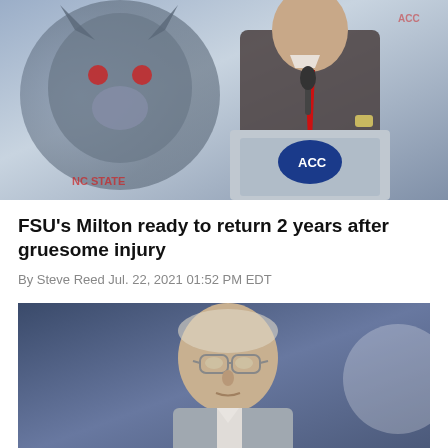[Figure (photo): A man in a dark plaid blazer and red tie speaking at an ACC podium with NC State wolf mascot logo in the background]
FSU's Milton ready to return 2 years after gruesome injury
By Steve Reed Jul. 22, 2021 01:52 PM EDT
[Figure (photo): An older man with glasses wearing a grey blazer, seated in an arena setting with blurred blue background]